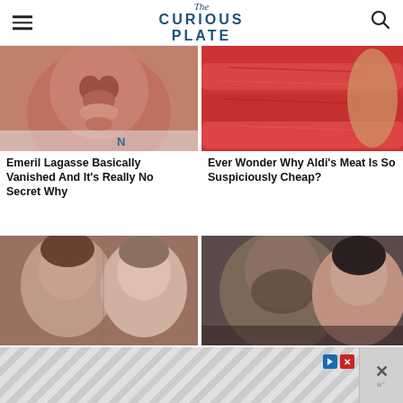The Curious Plate
[Figure (photo): Close-up photo of Emeril Lagasse's face]
[Figure (photo): Close-up photo of raw red meat slices]
Emeril Lagasse Basically Vanished And It's Really No Secret Why
Ever Wonder Why Aldi's Meat Is So Suspiciously Cheap?
[Figure (photo): Photo of Hilary and David from Love It or List It]
[Figure (photo): Photo of Rachael Ray and her husband]
The Truth About Hilary And David From Love It Or List It
The Truth About Rachael Ray's Husband
[Figure (other): Advertisement banner with geometric pattern and close button]